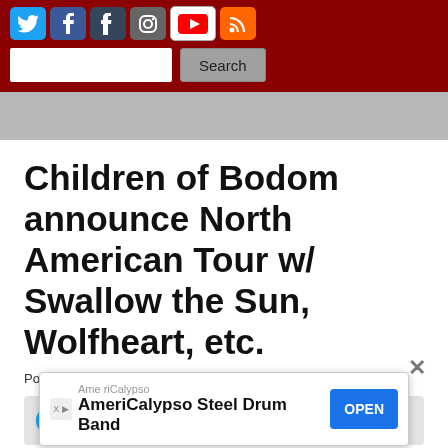Social media icons: Twitter, Facebook, Tumblr, Instagram, YouTube, RSS; Search bar with Search button
Children of Bodom announce North American Tour w/ Swallow the Sun, Wolfheart, etc.
Posted by Zenae Zukowski on January 14, 2019
[Figure (screenshot): Social sharing buttons: Tweet, Like 18, Share]
[Figure (photo): Dark band photo, partially visible]
[Figure (screenshot): Advertisement overlay: AmeriCalypso / AmeriCalypso Steel Drum Band with OPEN button and close X icon]